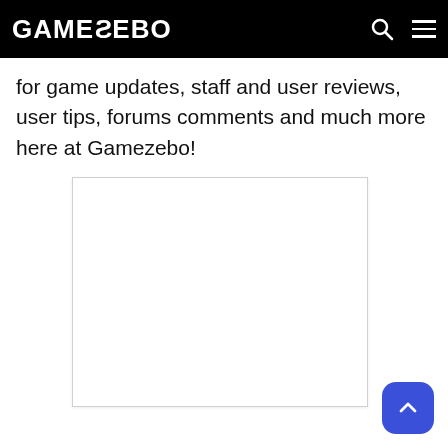GAMEZEBO
for game updates, staff and user reviews, user tips, forums comments and much more here at Gamezebo!
[Figure (other): Empty white advertisement or content placeholder box with light border]